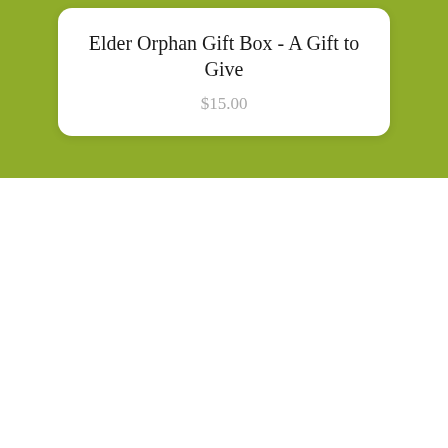Elder Orphan Gift Box - A Gift to Give
$15.00